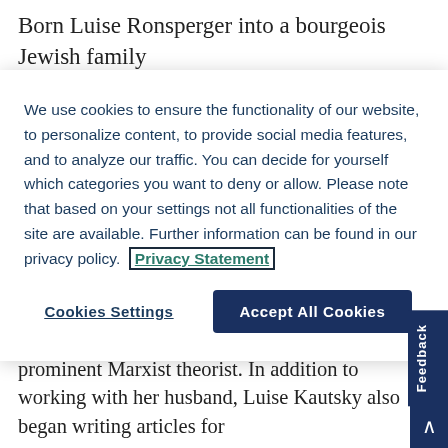Born Luise Ronsperger into a bourgeois Jewish family in Vienna. Later, Kautsky (She married), was a leading...
We use cookies to ensure the functionality of our website, to personalize content, to provide social media features, and to analyze our traffic. You can decide for yourself which categories you want to deny or allow. Please note that based on your settings not all functionalities of the site are available. Further information can be found in our privacy policy. Privacy Statement
Cookies Settings
Accept All Cookies
married in 1890 and began their shared journey as leading members of the Social-Democratic Party and later the Independent Social-Democratic Party.
Luise Kautsky became Karl Kautsky's personal secretary and assistant, working alongside him in his role as editor of Die Neue Zeit and as a prominent Marxist theorist. In addition to working with her husband, Luise Kautsky also began writing articles for